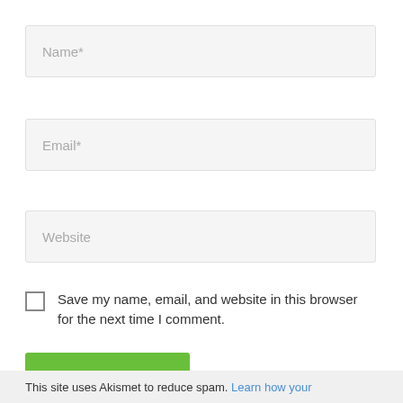Name*
Email*
Website
Save my name, email, and website in this browser for the next time I comment.
Post Comment »
This site uses Akismet to reduce spam. Learn how your